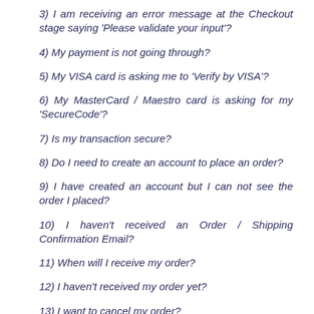3) I am receiving an error message at the Checkout stage saying 'Please validate your input'?
4) My payment is not going through?
5) My VISA card is asking me to 'Verify by VISA'?
6) My MasterCard / Maestro card is asking for my 'SecureCode'?
7) Is my transaction secure?
8) Do I need to create an account to place an order?
9) I have created an account but I can not see the order I placed?
10) I haven't received an Order / Shipping Confirmation Email?
11) When will I receive my order?
12) I haven't received my order yet?
13) I want to cancel my order?